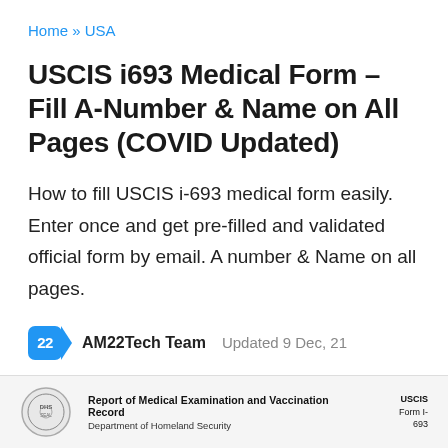Home » USA
USCIS i693 Medical Form – Fill A-Number & Name on All Pages (COVID Updated)
How to fill USCIS i-693 medical form easily. Enter once and get pre-filled and validated official form by email. A number & Name on all pages.
AM22Tech Team   Updated 9 Dec, 21
[Figure (other): Bottom preview of the USCIS Form I-693 Report of Medical Examination and Vaccination Record with DHS seal logo, form title, Department of Homeland Security text, and form number USCIS Form I-693]